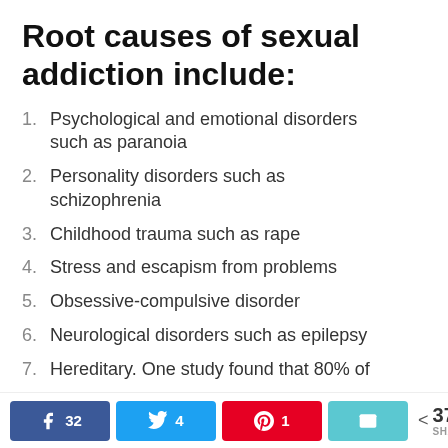Root causes of sexual addiction include:
Psychological and emotional disorders such as paranoia
Personality disorders such as schizophrenia
Childhood trauma such as rape
Stress and escapism from problems
Obsessive-compulsive disorder
Neurological disorders such as epilepsy
Hereditary. One study found that 80% of
Facebook 32  Twitter 4  Pinterest 1  Email  < 37 SHARES